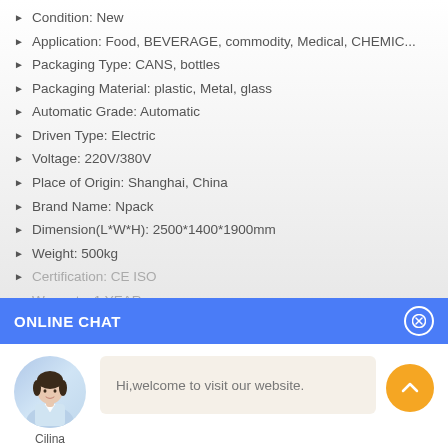Condition: New
Application: Food, BEVERAGE, commodity, Medical, CHEMIC...
Packaging Type: CANS, bottles
Packaging Material: plastic, Metal, glass
Automatic Grade: Automatic
Driven Type: Electric
Voltage: 220V/380V
Place of Origin: Shanghai, China
Brand Name: Npack
Dimension(L*W*H): 2500*1400*1900mm
Weight: 500kg
Certification: CE ISO
Warranty: 1 YEAR
ONLINE CHAT
Hi,welcome to visit our website.
Cilina